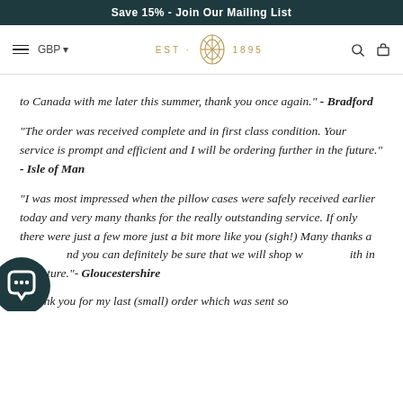Save 15% - Join Our Mailing List
[Figure (logo): EST. 1895 logo with decorative monogram in gold]
to Canada with me later this summer, thank you once again." - Bradford
"The order was received complete and in first class condition. Your service is prompt and efficient and I will be ordering further in the future." - Isle of Man
"I was most impressed when the pillow cases were safely received earlier today and very many thanks for the really outstanding service. If only there were just a few more just a bit more like you (sigh!) Many thanks and you can definitely be sure that we will shop with in the future."- Gloucestershire
"Thank you for my last (small) order which was sent so